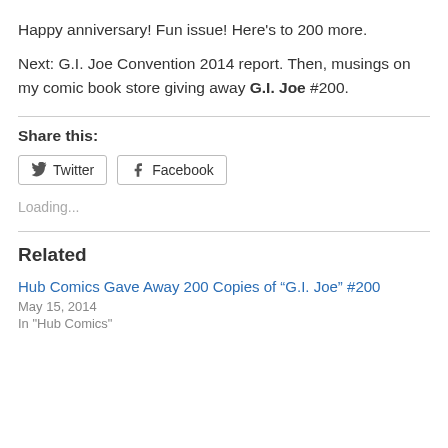Happy anniversary!  Fun issue!  Here's to 200 more.
Next: G.I. Joe Convention 2014 report.  Then, musings on my comic book store giving away G.I. Joe #200.
Share this:
Loading...
Related
Hub Comics Gave Away 200 Copies of “G.I. Joe” #200
May 15, 2014
In "Hub Comics"